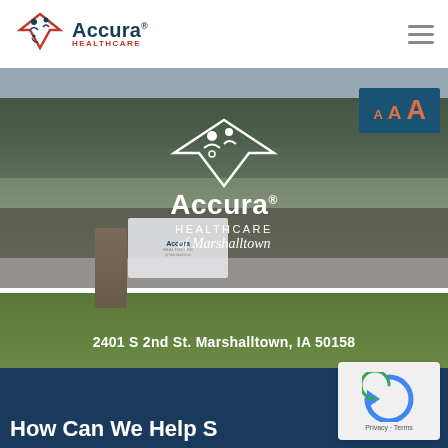Accura Healthcare
[Figure (photo): Outdoor photograph of Accura Healthcare of Marshalltown facility entrance sign. A stone pillar monument sign displays the Accura Healthcare of Marshalltown logo in white. Background shows trees, cars in a parking lot, overcast sky, and green grass. An AAA font-size accessibility widget appears in the upper right corner with a blue background. Address '2401 S 2nd St. Marshalltown, IA 50158' is overlaid at the bottom of the image in white bold text.]
[Figure (logo): reCAPTCHA widget with circular arrow logo and 'Privacy - Terms' text below on a light gray background.]
How Can We Help S…